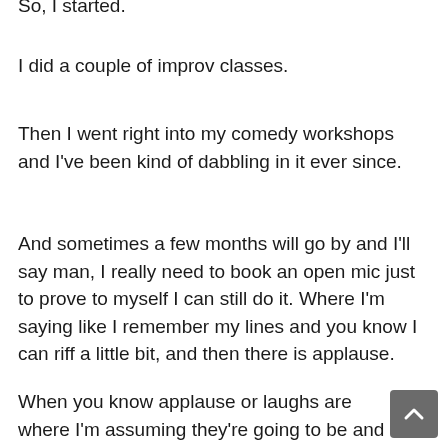So, I started.
I did a couple of improv classes.
Then I went right into my comedy workshops and I've been kind of dabbling in it ever since.
And sometimes a few months will go by and I'll say man, I really need to book an open mic just to prove to myself I can still do it. Where I'm saying like I remember my lines and you know I can riff a little bit, and then there is applause.
When you know applause or laughs are where I'm assuming they're going to be and things are going